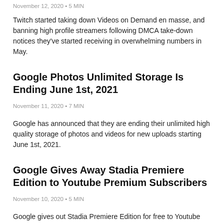November 12, 2020 • 5 MIN
Twitch started taking down Videos on Demand en masse, and banning high profile streamers following DMCA take-down notices they've started receiving in overwhelming numbers in May.
Google Photos Unlimited Storage Is Ending June 1st, 2021
November 11, 2020 • 7 MIN
Google has announced that they are ending their unlimited high quality storage of photos and videos for new uploads starting June 1st, 2021.
Google Gives Away Stadia Premiere Edition to Youtube Premium Subscribers
November 10, 2020 • 5 MIN
Google gives out Stadia Premiere Edition for free to Youtube Premium Paid subscribers this holiday season